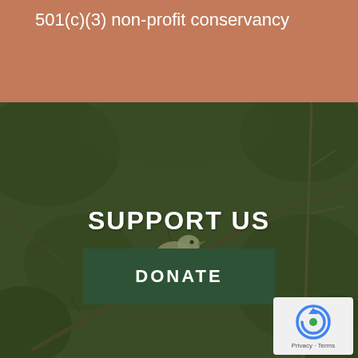501(c)(3) non-profit conservancy
[Figure (photo): A small bird perched on bare branches with a dark green-tinted background, overlaid with 'SUPPORT US' text and a green DONATE button]
Privacy · Terms